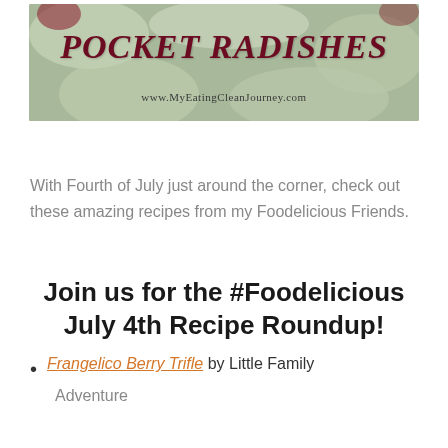[Figure (photo): Header image with food photo background showing 'POCKET RADISHES' text in dark red and 'www.MyEatingCleanJourney.com' subtitle]
With Fourth of July just around the corner, check out these amazing recipes from my Foodelicious Friends.
Join us for the #Foodelicious July 4th Recipe Roundup!
Frangelico Berry Trifle by Little Family Adventure